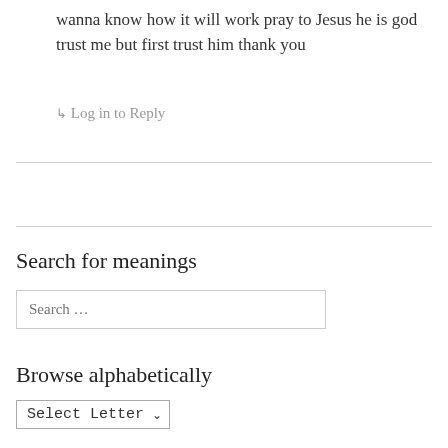wanna know how it will work pray to Jesus he is god trust me but first trust him thank you
↳ Log in to Reply
Search for meanings
Search …
Browse alphabetically
Select Letter ✓